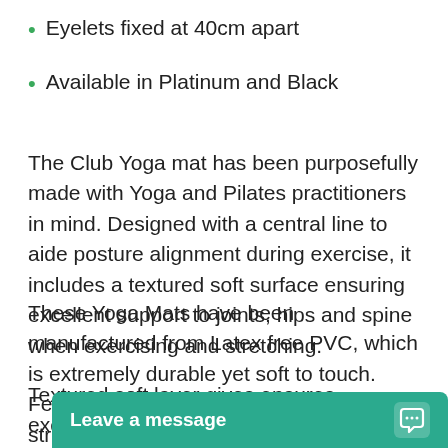Eyelets fixed at 40cm apart
Available in Platinum and Black
The Club Yoga mat has been purposefully made with Yoga and Pilates practitioners in mind. Designed with a central line to aide posture alignment during exercise, it includes a textured soft surface ensuring excellent support to joints, hips and spine when exercising and stretching.
These Yoga Mats have been manufactured from Latex free PVC, which is extremely durable yet soft to touch. Featuring an inner cotton layer to prevent stretching, the quality of construction ensures withstands regular use.
Textured soft layer gives ensures excellent grip to help feet and hands stay in place. This Yoga exercise mat is easily rolled to transport and store. Also includes eyelets to hang on wall brackets.